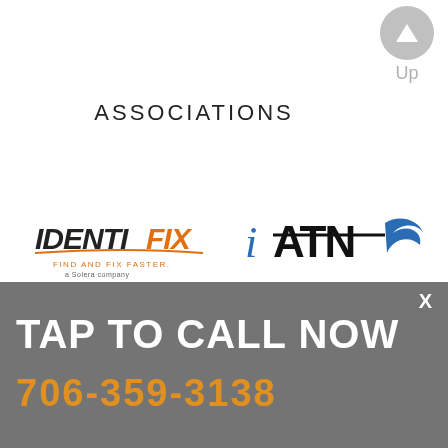[Figure (illustration): Up navigation button - gray circle with white upward arrow, labeled 'Up' below]
ASSOCIATIONS
[Figure (logo): IDENTIFIX logo - bold black italic text with orange FIX and tagline 'FIND AND FIX FASTER. A Solera company']
[Figure (logo): iATN logo - blue lowercase i followed by ATN in bold black with stylized wing graphic]
QUICK LINKS
OUR SHOP
AUTO PARTS
PARTS & RETURNS TIPS
CONTACT US
PRIVACY POLICY
MORE
TAP TO CALL NOW
706-359-3138